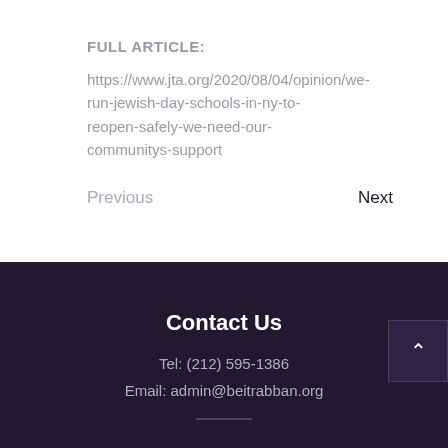FULL ARTICLE:
https://www.jta.org/2020/08/04/opinion/we-run-jewish-day-schools-in-ny-to-reopen-safely-we-need-our-communitys-support
Previous
Next
Contact Us
Tel:  (212) 595-1386
Email:  admin@beitrabban.org